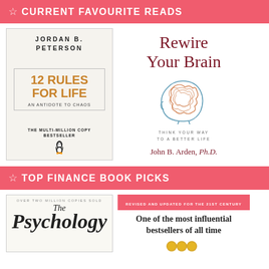☆ CURRENT FAVOURITE READS
[Figure (photo): Book cover: Jordan B. Peterson - 12 Rules for Life: An Antidote to Chaos. The Multi-Million Copy Bestseller. Penguin logo.]
[Figure (photo): Book cover: Rewire Your Brain - Think Your Way to a Better Life by John B. Arden, Ph.D. Features illustration of a human head profile with tangled lines representing a brain.]
☆ TOP FINANCE BOOK PICKS
[Figure (photo): Book cover: The Psychology of... Over two million copies sold. Partially visible.]
[Figure (photo): Book cover: 'One of the most influential bestsellers of all time' with red banner 'Revised and updated for the 21st century'. Gold coins partially visible at bottom.]